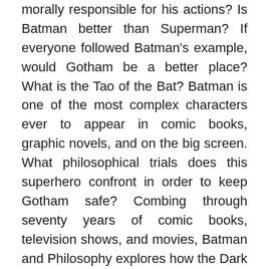everyone's misery. Can we hold the Joker morally responsible for his actions? Is Batman better than Superman? If everyone followed Batman's example, would Gotham be a better place? What is the Tao of the Bat? Batman is one of the most complex characters ever to appear in comic books, graphic novels, and on the big screen. What philosophical trials does this superhero confront in order to keep Gotham safe? Combing through seventy years of comic books, television shows, and movies, Batman and Philosophy explores how the Dark Knight grapples with ethical conundrums, moral responsibility, his identity crisis, the moral weight he carries to avenge his murdered parents, and much more. How does this caped crusader measure up against the teachings of